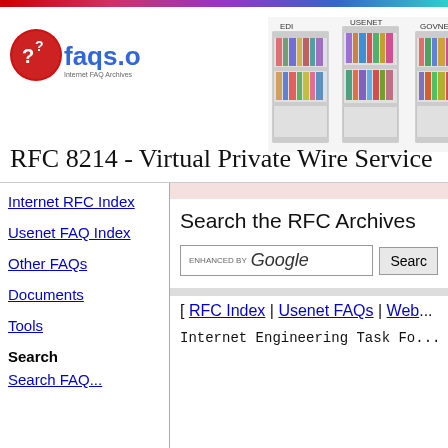[Figure (logo): faqs.org logo with red circle and blue text, Internet FAQ Archives subtitle]
[Figure (illustration): Bookshelf image showing library shelves with colored books, labeled EDI, USENET, GOVNEWS]
RFC 8214 - Virtual Private Wire Service
Internet RFC Index
Usenet FAQ Index
Other FAQs
Documents
Tools
Search
Search FAQ...
Search the RFC Archives
[ RFC Index | Usenet FAQs | Web...
Internet Engineering Task Fo...